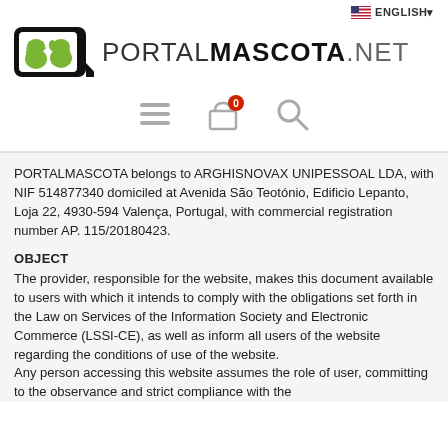[Figure (logo): PortalMascota.net logo with green pet silhouettes in a black rounded square, with PORTALMASCOTA.NET wordmark]
[Figure (other): Navigation icons: hamburger menu, shopping cart with 0 badge, and search icon]
PORTALMASCOTA belongs to ARGHISNOVAX UNIPESSOAL LDA, with NIF 514877340 domiciled at Avenida São Teotónio, Edificio Lepanto, Loja 22, 4930-594 Valença, Portugal, with commercial registration number AP. 115/20180423.
OBJECT
The provider, responsible for the website, makes this document available to users with which it intends to comply with the obligations set forth in the Law on Services of the Information Society and Electronic Commerce (LSSI-CE), as well as inform all users of the website regarding the conditions of use of the website.
Any person accessing this website assumes the role of user, committing to the observance and strict compliance with the